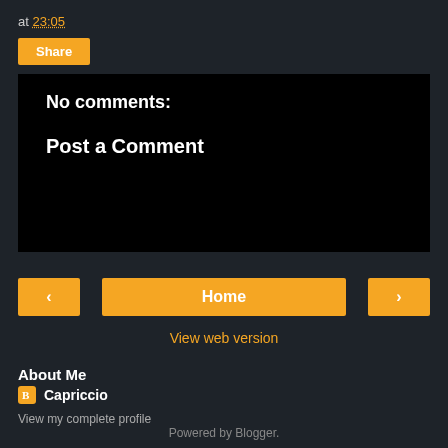at 23:05
Share
No comments:
Post a Comment
‹
Home
›
View web version
About Me
Capriccio
View my complete profile
Powered by Blogger.